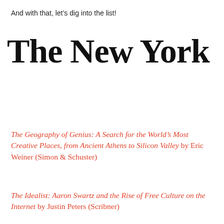And with that, let's dig into the list!
[Figure (logo): The New York Times masthead logo in blackletter/Old English typeface]
The Geography of Genius: A Search for the World's Most Creative Places, from Ancient Athens to Silicon Valley by Eric Weiner (Simon & Schuster)
The Idealist: Aaron Swartz and the Rise of Free Culture on the Internet by Justin Peters (Scribner)